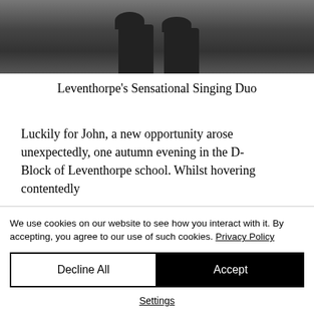[Figure (photo): Black and white photo showing cowboy boots, cropped to show the lower legs and boots against a grey background]
Leventhorpe's Sensational Singing Duo
Luckily for John, a new opportunity arose unexpectedly, one autumn evening in the D-Block of Leventhorpe school. Whilst hovering contentedly
We use cookies on our website to see how you interact with it. By accepting, you agree to our use of such cookies. Privacy Policy
Decline All
Accept
Settings